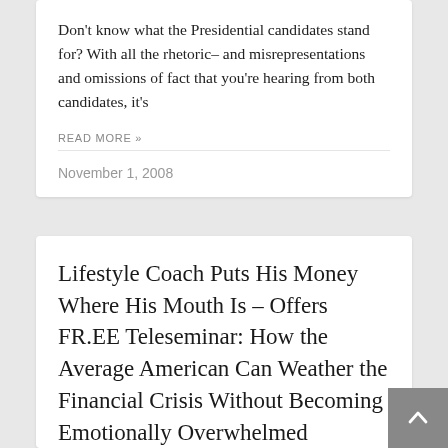Don't know what the Presidential candidates stand for? With all the rhetoric– and misrepresentations and omissions of fact that you're hearing from both candidates, it's
READ MORE »
November 1, 2008
Lifestyle Coach Puts His Money Where His Mouth Is – Offers FR.EE Teleseminar: How the Average American Can Weather the Financial Crisis Without Becoming Emotionally Overwhelmed